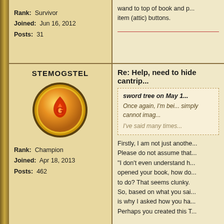wand to top of book and p... item (attic) buttons.
Rank: Survivor
Joined: Jun 16, 2012
Posts: 31
STEMOGSTEL
[Figure (illustration): Gold coin avatar with red flame icon]
Rank: Champion
Joined: Apr 18, 2013
Posts: 462
Re: Help, need to hide cantrip...
sword tree on May 1...
Once again, I'm bei... simply cannot imag...
I've said many times...
Firstly, I am not just anothe... Please do not assume that... "I don't even understand h... opened your book, how do... to do? That seems clunky. So, based on what you sai... is why I asked how you ha... Perhaps you created this T...

On another note, if using t... earth do you do about the...